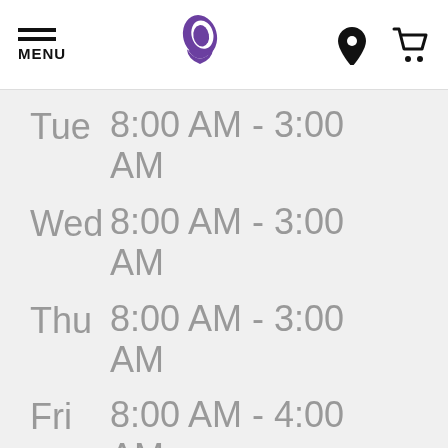[Figure (screenshot): Taco Bell website header with hamburger menu icon labeled MENU, Taco Bell logo (purple bell), location pin icon, and shopping cart icon]
| Day | Hours |
| --- | --- |
| Tue | 8:00 AM - 3:00 AM |
| Wed | 8:00 AM - 3:00 AM |
| Thu | 8:00 AM - 3:00 AM |
| Fri | 8:00 AM - 4:00 AM |